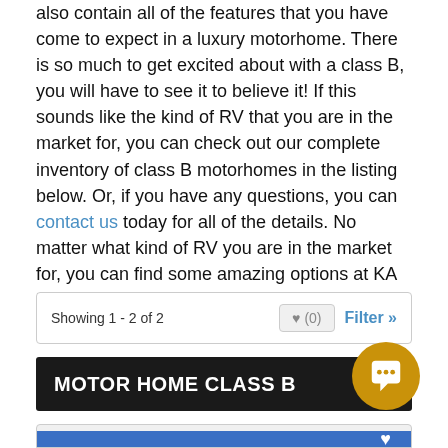also contain all of the features that you have come to expect in a luxury motorhome. There is so much to get excited about with a class B, you will have to see it to believe it! If this sounds like the kind of RV that you are in the market for, you can check out our complete inventory of class B motorhomes in the listing below. Or, if you have any questions, you can contact us today for all of the details. No matter what kind of RV you are in the market for, you can find some amazing options at KA RV, your top class B motorhome dealer in Desert Hot Springs, CA.
Showing 1 - 2 of 2
MOTOR HOME CLASS B
[Figure (screenshot): Bottom portion of a listing card showing a blue image area with a heart icon]